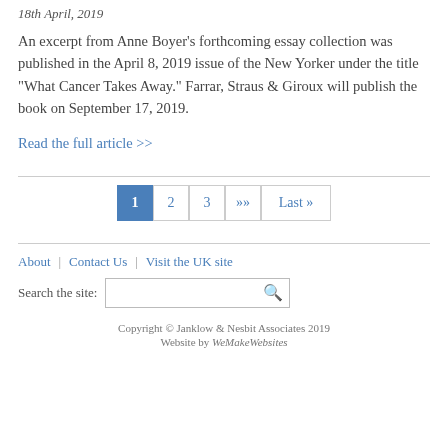18th April, 2019
An excerpt from Anne Boyer’s forthcoming essay collection was published in the April 8, 2019 issue of the New Yorker under the title “What Cancer Takes Away.” Farrar, Straus & Giroux will publish the book on September 17, 2019.
Read the full article >>
1  2  3  »»  Last »
About | Contact Us | Visit the UK site
Search the site:
Copyright © Janklow & Nesbit Associates 2019
Website by WeMakeWebsites